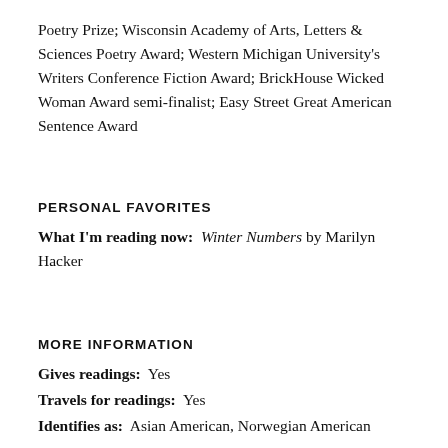Poetry Prize; Wisconsin Academy of Arts, Letters & Sciences Poetry Award; Western Michigan University's Writers Conference Fiction Award; BrickHouse Wicked Woman Award semi-finalist; Easy Street Great American Sentence Award
PERSONAL FAVORITES
What I'm reading now: Winter Numbers by Marilyn Hacker
MORE INFORMATION
Gives readings: Yes
Travels for readings: Yes
Identifies as: Asian American, Norwegian American